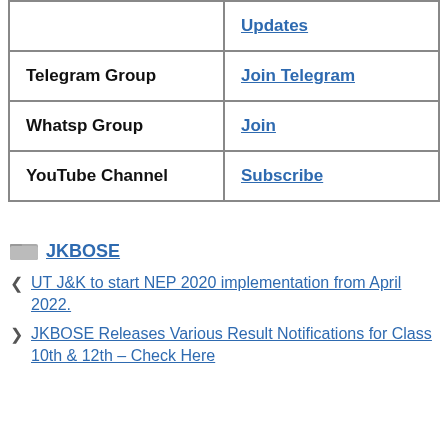|  |  |
| --- | --- |
|  | Updates |
| Telegram Group | Join Telegram |
| Whatsp Group | Join |
| YouTube Channel | Subscribe |
JKBOSE
UT J&K to start NEP 2020 implementation from April 2022.
JKBOSE Releases Various Result Notifications for Class 10th & 12th – Check Here